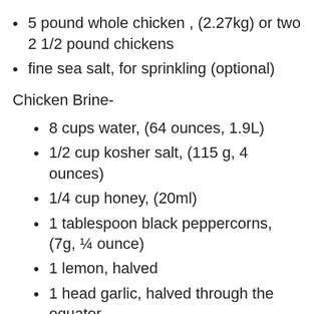5 pound whole chicken , (2.27kg) or two 2 1/2 pound chickens
fine sea salt, for sprinkling (optional)
Chicken Brine-
8 cups water, (64 ounces, 1.9L)
1/2 cup kosher salt, (115 g, 4 ounces)
1/4 cup honey, (20ml)
1 tablespoon black peppercorns, (7g, ¼ ounce)
1 lemon, halved
1 head garlic, halved through the equator
1/4 bunch flat-leaf parsley, (30g, 1 ounce)
6 sprigs of thyme